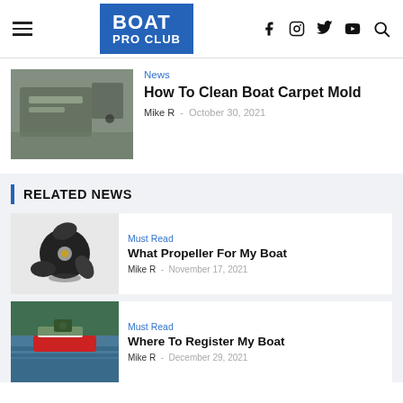BOAT PRO CLUB — navigation header with hamburger menu, logo, social icons (Facebook, Instagram, Twitter, YouTube, Search)
News
How To Clean Boat Carpet Mold
Mike R  -  October 30, 2021
RELATED NEWS
Must Read
What Propeller For My Boat
Mike R  -  November 17, 2021
Must Read
Where To Register My Boat
Mike R  -  December 29, 2021